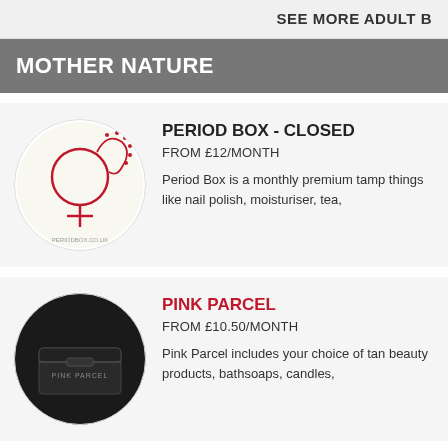SEE MORE ADULT B
MOTHER NATURE
PERIOD BOX - CLOSED
FROM £12/MONTH
Period Box is a monthly premium tamp things like nail polish, moisturiser, tea,
PINK PARCEL
FROM £10.50/MONTH
Pink Parcel includes your choice of tan beauty products, bathsoaps, candles,